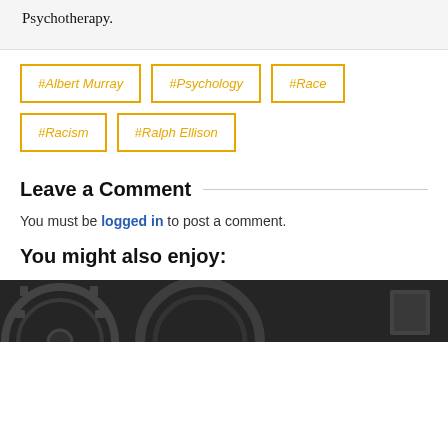Psychotherapy.
#Albert Murray
#Psychology
#Race
#Racism
#Ralph Ellison
Leave a Comment
You must be logged in to post a comment.
You might also enjoy:
[Figure (photo): Dark background image, likely a photo of gears or machinery, partially visible at the bottom of the page.]